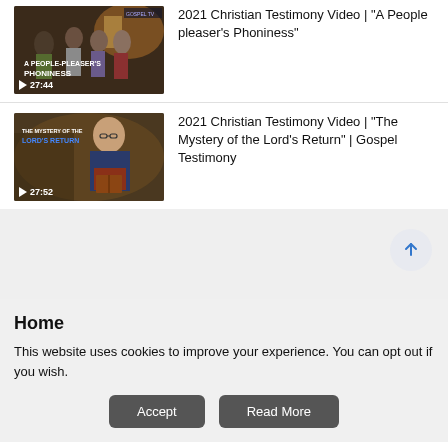[Figure (screenshot): Video thumbnail for 'A People-pleaser's Phoniness' showing people in a room, with play button and duration 27:44]
2021 Christian Testimony Video | "A People pleaser's Phoniness"
[Figure (screenshot): Video thumbnail for 'The Mystery of the Lord's Return' showing a woman reading a book, with play button and duration 27:52]
2021 Christian Testimony Video | "The Mystery of the Lord's Return" | Gospel Testimony
Home
This website uses cookies to improve your experience. You can opt out if you wish.
Accept
Read More